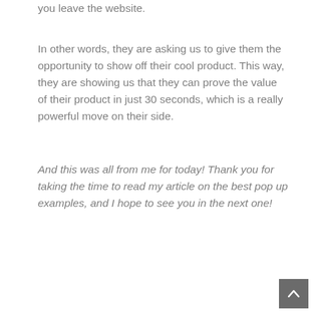you leave the website.
In other words, they are asking us to give them the opportunity to show off their cool product. This way, they are showing us that they can prove the value of their product in just 30 seconds, which is a really powerful move on their side.
And this was all from me for today! Thank you for taking the time to read my article on the best pop up examples, and I hope to see you in the next one!